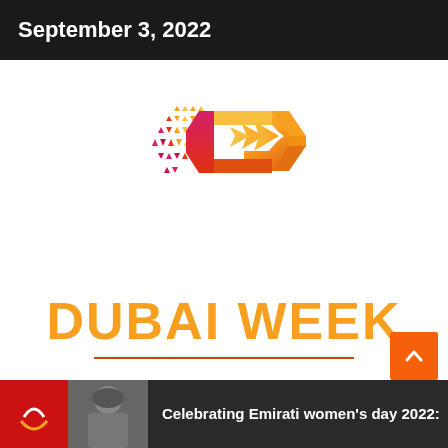September 3, 2022
[Figure (logo): Dubai Week logo: colorful hexagonal D-arrow shape with pixel/triangle scatter pattern in orange, yellow, magenta, and red gradient, above the text DUBAI WEEK]
DUBAI WEEK
Celebrating Emirati women's day 2022: